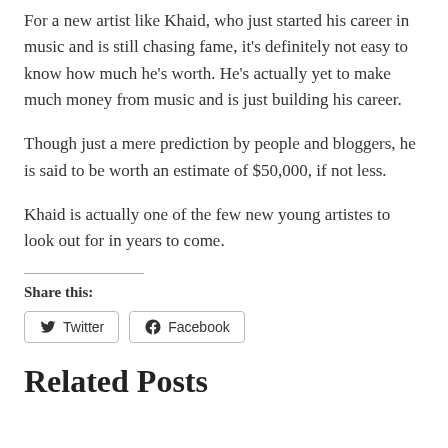For a new artist like Khaid, who just started his career in music and is still chasing fame, it’s definitely not easy to know how much he’s worth. He’s actually yet to make much money from music and is just building his career.
Though just a mere prediction by people and bloggers, he is said to be worth an estimate of $50,000, if not less.
Khaid is actually one of the few new young artistes to look out for in years to come.
Share this:
Twitter   Facebook
Related Posts